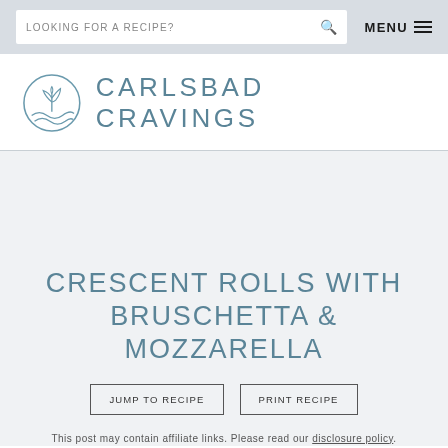LOOKING FOR A RECIPE?  MENU
[Figure (logo): Carlsbad Cravings logo: circular icon with plant/leaf motif in muted blue, followed by text CARLSBAD CRAVINGS in spaced uppercase teal letters]
CRESCENT ROLLS WITH BRUSCHETTA & MOZZARELLA
JUMP TO RECIPE
PRINT RECIPE
This post may contain affiliate links. Please read our disclosure policy.